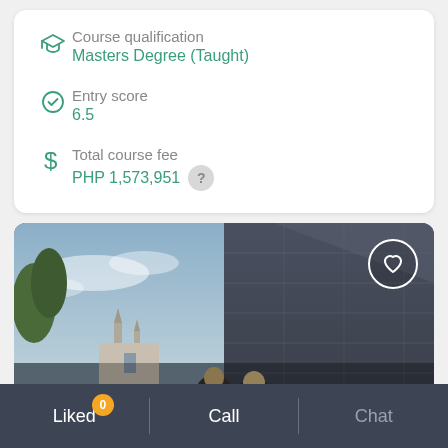Course qualification
Masters Degree (Taught)
Entry score
6.5
Total course fee
PHP 1,573,951
[Figure (photo): University building exterior with sky and trees, two students visible at bottom]
Liked 0  |  Call  |  Chat